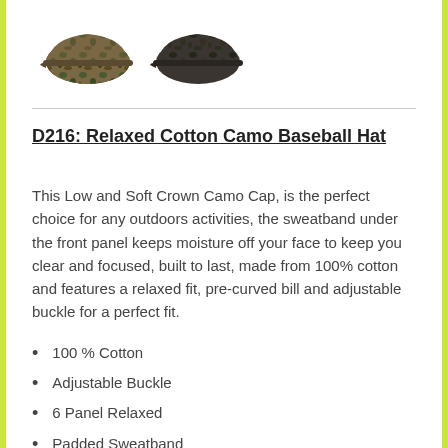[Figure (photo): Two camouflage baseball hats shown side by side — one in green/brown camo and one in dark black/grey camo.]
D216: Relaxed Cotton Camo Baseball Hat
This Low and Soft Crown Camo Cap, is the perfect choice for any outdoors activities, the sweatband under the front panel keeps moisture off your face to keep you clear and focused, built to last, made from 100% cotton and features a relaxed fit, pre-curved bill and adjustable buckle for a perfect fit.
100 % Cotton
Adjustable Buckle
6 Panel Relaxed
Padded Sweatband
Imported